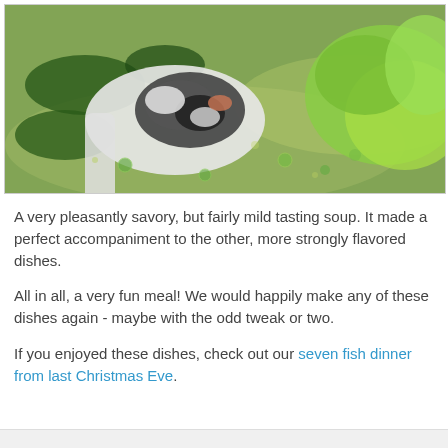[Figure (photo): Close-up photo of a soup bowl containing fish/seafood pieces on a spoon, with green leafy vegetables (lettuce), green onions, and a savory broth.]
A very pleasantly savory, but fairly mild tasting soup. It made a perfect accompaniment to the other, more strongly flavored dishes.
All in all, a very fun meal! We would happily make any of these dishes again - maybe with the odd tweak or two.
If you enjoyed these dishes, check out our seven fish dinner from last Christmas Eve.